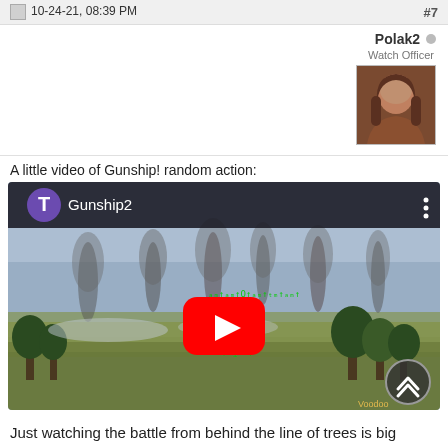10-24-21, 08:39 PM  #7
Polak2
Watch Officer
[Figure (photo): User avatar photo of Polak2, showing a person with long brown hair]
A little video of Gunship! random action:
[Figure (screenshot): YouTube video thumbnail showing Gunship2 video with helicopter battle scene over green fields with smoke columns, trees visible on right side. YouTube play button overlay. Channel icon T in purple circle. Three-dot menu icon. Scroll up button bottom right. Watermark 'Voodoo'.]
Just watching the battle from behind the line of trees is big